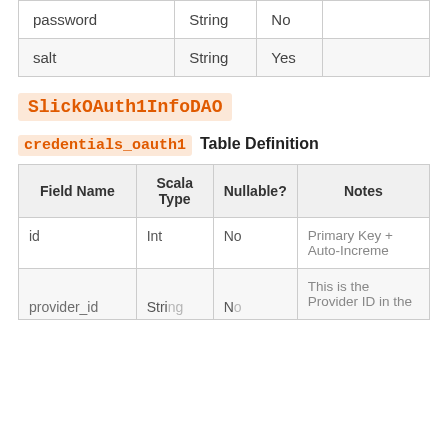| Field Name | Scala Type | Nullable? | Notes |
| --- | --- | --- | --- |
| password | String | No |  |
| salt | String | Yes |  |
SlickOAuth1InfoDAO
credentials_oauth1 Table Definition
| Field Name | Scala Type | Nullable? | Notes |
| --- | --- | --- | --- |
| id | Int | No | Primary Key + Auto-Increment |
| provider_id | String | No | This is the Provider ID in the |